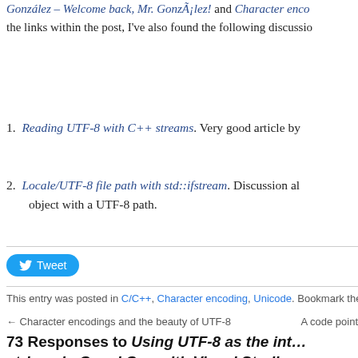González – Welcome back, Mr. González! and Character enco… the links within the post, I've also found the following discussio…
Reading UTF-8 with C++ streams. Very good article by…
Locale/UTF-8 file path with std::ifstream. Discussion a… object with a UTF-8 path.
[Figure (other): Twitter Tweet button (blue rounded pill button with bird icon and 'Tweet' label)]
This entry was posted in C/C++, Character encoding, Unicode. Bookmark the…
← Character encodings and the beauty of UTF-8    A code point…
73 Responses to Using UTF-8 as the int… strings in C and C++ with Visual Studio
Sean Cavanaugh says:
January 29, 2013 at 10:53 pm